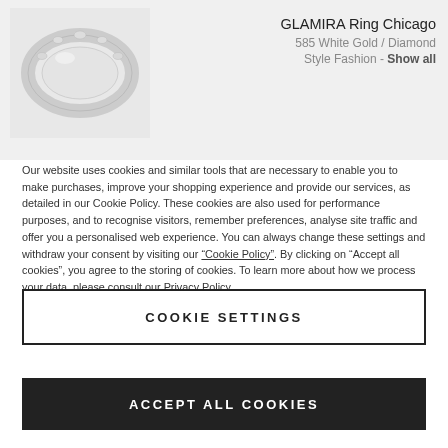[Figure (photo): Photo of GLAMIRA Ring Chicago in white gold with diamonds, shown on light grey background]
GLAMIRA Ring Chicago
585 White Gold / Diamond
Style Fashion - Show all
Our website uses cookies and similar tools that are necessary to enable you to make purchases, improve your shopping experience and provide our services, as detailed in our Cookie Policy. These cookies are also used for performance purposes, and to recognise visitors, remember preferences, analyse site traffic and offer you a personalised web experience. You can always change these settings and withdraw your consent by visiting our “Cookie Policy”. By clicking on “Accept all cookies”, you agree to the storing of cookies. To learn more about how we process your data, please consult our Privacy Policy.
COOKIE SETTINGS
ACCEPT ALL COOKIES